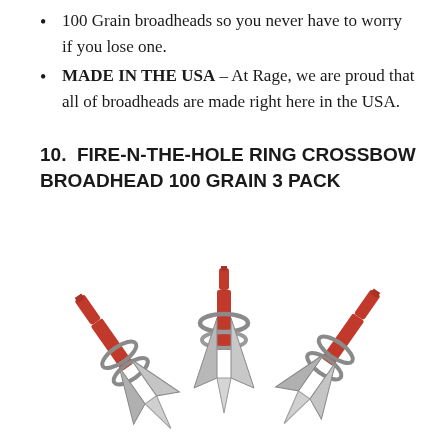100 Grain broadheads so you never have to worry if you lose one.
MADE IN THE USA – At Rage, we are proud that all of broadheads are made right here in the USA.
10. FIRE-N-THE-HOLE RING CROSSBOW BROADHEAD 100 GRAIN 3 PACK
[Figure (photo): Three red and silver crossbow broadheads arranged in a triangular grouping — one upright in the center top, one tilted to the left, and one tilted to the right — showing mechanical ring broadhead design with red aluminum bodies and silver steel blades.]